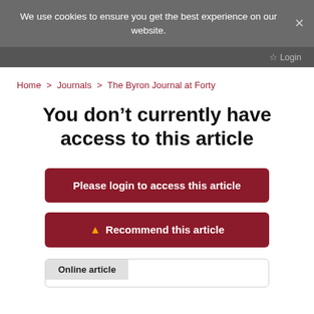We use cookies to ensure you get the best experience on our website.
Login
Home > Journals > The Byron Journal at Forty
You don’t currently have access to this article
Please login to access this article
Recommend this article
Online article